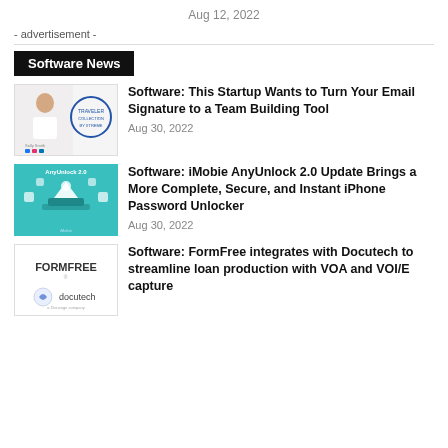Aug 12, 2022
- advertisement -
Software News
Software: This Startup Wants to Turn Your Email Signature to a Team Building Tool
Aug 30, 2022
Software: iMobie AnyUnlock 2.0 Update Brings a More Complete, Secure, and Instant iPhone Password Unlocker
Aug 30, 2022
Software: FormFree integrates with Docutech to streamline loan production with VOA and VOI/E capture
[Figure (illustration): Email signature team building tool promotional image with a woman and circular design]
[Figure (illustration): iMobie AnyUnlock 2.0 teal graphic with floating technology icons]
[Figure (logo): FormFree and docutech logos on white background]